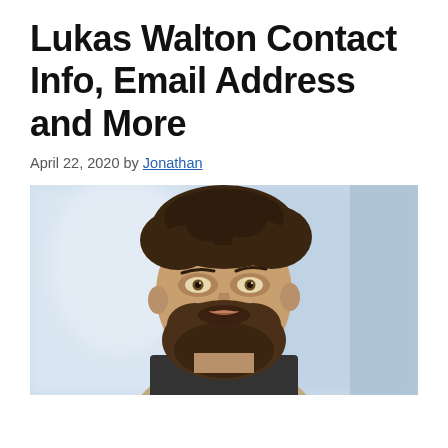Lukas Walton Contact Info, Email Address and More
April 22, 2020 by Jonathan
[Figure (photo): Portrait photo of Lukas Walton, a man with curly brown hair and a beard, looking slightly upward, against a blurred light blue and white background.]